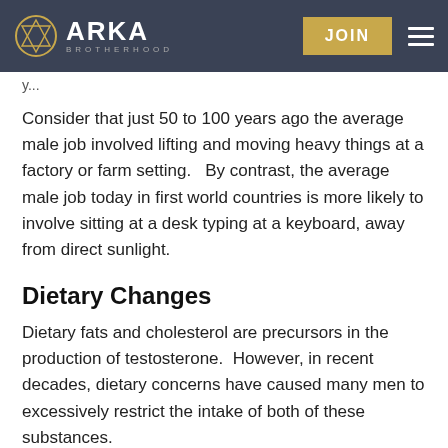ARKA BROTHERHOOD | JOIN
Consider that just 50 to 100 years ago the average male job involved lifting and moving heavy things at a factory or farm setting.   By contrast, the average male job today in first world countries is more likely to involve sitting at a desk typing at a keyboard, away from direct sunlight.
Dietary Changes
Dietary fats and cholesterol are precursors in the production of testosterone.  However, in recent decades, dietary concerns have caused many men to excessively restrict the intake of both of these substances.
In addition...